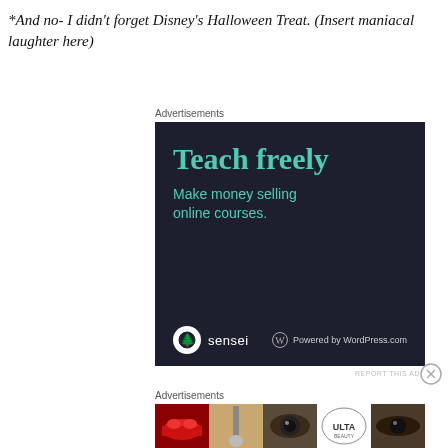*And no- I didn't forget Disney's Halloween Treat. (Insert maniacal laughter here)
Advertisements
[Figure (other): Advertisement for Sensei platform: dark navy background with teal text reading 'Teach freely' and 'Make money selling online courses.' with Sensei logo and 'Powered by WordPress.com' branding at the bottom.]
Advertisements
[Figure (other): ULTA Beauty advertisement banner with makeup images (lips, brush, eye) and ULTA logo, with SHOP NOW call to action.]